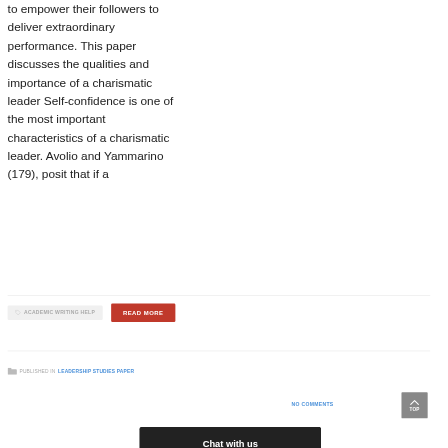to empower their followers to deliver extraordinary performance. This paper discusses the qualities and importance of a charismatic leader Self-confidence is one of the most important characteristics of a charismatic leader. Avolio and Yammarino (179), posit that if a
ACADEMIC WRITING HELP
READ MORE
PUBLISHED IN LEADERSHIP STUDIES PAPER
NO COMMENTS
Chat with us
TOP